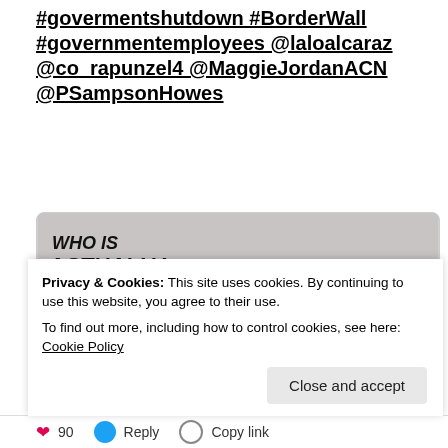#govermentshutdown #BorderWall #governmentemployees @laloalcaraz @co_rapunzel4 @MaggieJordanACN @PSampsonHowes
[Figure (illustration): A cartoon illustration with text 'WHO IS ACTUALLY PAYING FOR THE WALL?' showing silhouettes of American families (indicated by US flag patches) in various situations: a couple who 'just missed a mortgage payment', a parent and child with 'birthdays put off until next year', a person at a computer with '401k just tanked', a parent with child who has 'had to skip a doctor's appointment', and a person slumped in a chair.]
Privacy & Cookies: This site uses cookies. By continuing to use this website, you agree to their use.
To find out more, including how to control cookies, see here: Cookie Policy
Close and accept
90  Reply  Copy link